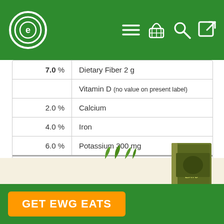EWG Food Scores – navigation header with logo and icons
| % Daily Value | Nutrient |
| --- | --- |
| 7.0 % | Dietary Fiber 2 g |
|  | Vitamin D (no value on present label) |
| 2.0 % | Calcium |
| 4.0 % | Iron |
| 6.0 % | Potassium 300 mg |
† Institute of Medicine. 2010. "Dietary Reference Intakes Tables and Application." Accessed April 8, 2014: link
[Figure (other): GET EWG EATS promotional banner with orange button and book cover illustration on green background]